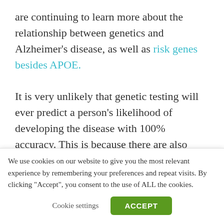are continuing to learn more about the relationship between genetics and Alzheimer's disease, as well as risk genes besides APOE.
It is very unlikely that genetic testing will ever predict a person's likelihood of developing the disease with 100% accuracy. This is because there are also environmental factors that can influence
We use cookies on our website to give you the most relevant experience by remembering your preferences and repeat visits. By clicking "Accept", you consent to the use of ALL the cookies.